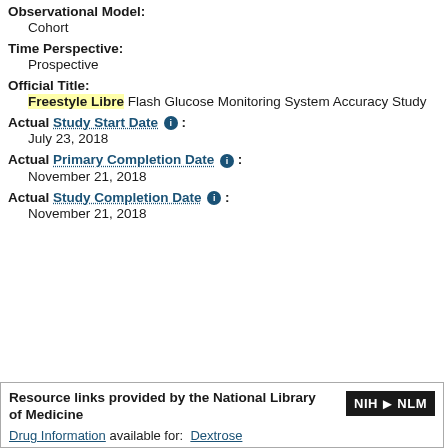Observational Model:
Cohort
Time Perspective:
Prospective
Official Title:
Freestyle Libre Flash Glucose Monitoring System Accuracy Study
Actual Study Start Date :
July 23, 2018
Actual Primary Completion Date :
November 21, 2018
Actual Study Completion Date :
November 21, 2018
Resource links provided by the National Library of Medicine
Drug Information available for: Dextrose